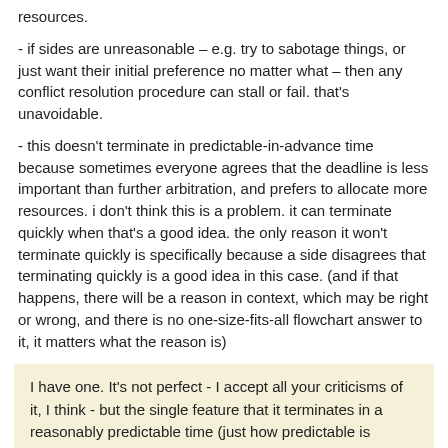resources.
- if sides are unreasonable – e.g. try to sabotage things, or just want their initial preference no matter what – then any conflict resolution procedure can stall or fail. that's unavoidable.
- this doesn't terminate in predictable-in-advance time because sometimes everyone agrees that the deadline is less important than further arbitration, and prefers to allocate more resources. i don't think this is a problem. it can terminate quickly when that's a good idea. the only reason it won't terminate quickly is specifically because a side disagrees that terminating quickly is a good idea in this case. (and if that happens, there will be a reason in context, which may be right or wrong, and there is no one-size-fits-all flowchart answer to it, it matters what the reason is)
I have one. It's not perfect - I accept all your criticisms of it, I think - but the single feature that it terminates in a reasonably predictable time (just how predictable is determined, of course, by how close together one chooses the two cutoff probabilities to be) is so important that I think the method is better than any alternative that doesn't reliably terminate.
- this list is incomplete — there are clearly other possible...